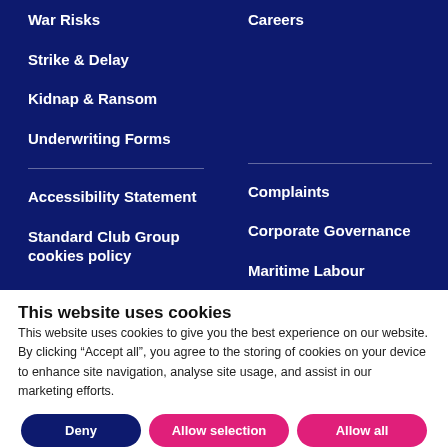War Risks
Careers
Strike & Delay
Kidnap & Ransom
Underwriting Forms
Accessibility Statement
Complaints
Standard Club Group cookies policy
Corporate Governance
Maritime Labour
This website uses cookies
This website uses cookies to give you the best experience on our website. By clicking “Accept all”, you agree to the storing of cookies on your device to enhance site navigation, analyse site usage, and assist in our marketing efforts.
Deny | Allow selection | Allow all
Necessary  Preferences  Statistics  Marketing  Show details